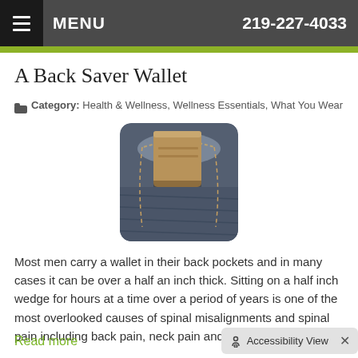MENU  219-227-4033
A Back Saver Wallet
Category: Health & Wellness, Wellness Essentials, What You Wear
[Figure (photo): A wallet sticking out of a back jeans pocket, photographed close up. The wallet is brown leather and the jeans are dark blue denim.]
Most men carry a wallet in their back pockets and in many cases it can be over a half an inch thick. Sitting on a half inch wedge for hours at a time over a period of years is one of the most overlooked causes of spinal misalignments and spinal pain including back pain, neck pain and even headaches.
Read more